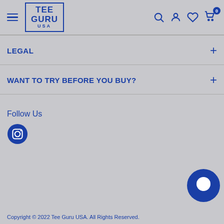[Figure (logo): Tee Guru USA logo in a bordered box with hamburger menu icon on the left and navigation icons (search, account, heart, cart) on the right]
LEGAL
WANT TO TRY BEFORE YOU BUY?
Follow Us
[Figure (logo): Instagram icon circle]
[Figure (other): Chat support button circle with speech bubble icon]
Copyright © 2022 Tee Guru USA. All Rights Reserved.